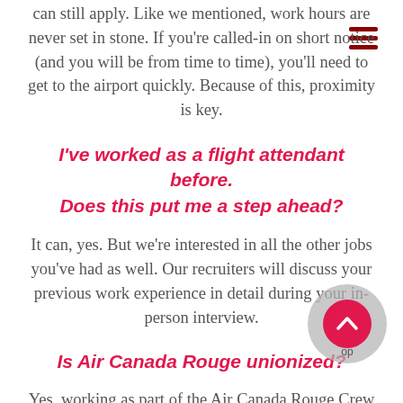can still apply. Like we mentioned, work hours are never set in stone. If you're called-in on short notice (and you will be from time to time), you'll need to get to the airport quickly. Because of this, proximity is key.
I've worked as a flight attendant before. Does this put me a step ahead?
It can, yes. But we're interested in all the other jobs you've had as well. Our recruiters will discuss your previous work experience in detail during your in-person interview.
Is Air Canada Rouge unionized?
Yes, working as part of the Air Canada Rouge Crew is a unionized position. Your salary, 6 month probationary period, and benefits after successful completion of the training programs are all determined